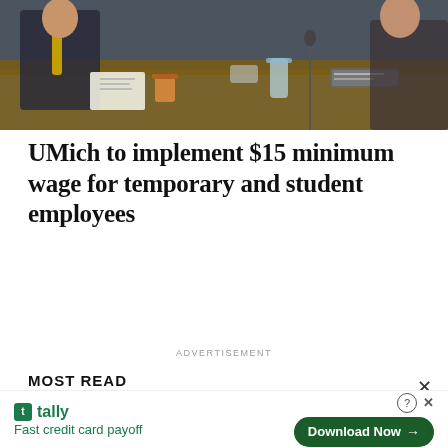[Figure (photo): People seated at a conference/meeting table, seen from the side, with papers, glasses and a name placard visible.]
UMich to implement $15 minimum wage for temporary and student employees
ADVERTISEMENT
MOST READ
Blake Corum is ready to step up
Lorelai Gilmore kind of sucks, and it’s time we talk about it
Who has the right to say…
[Figure (infographic): Tally advertisement banner: green Tally logo with text 'Fast credit card payoff' and a dark green 'Download Now →' button. Includes question mark and X icons.]